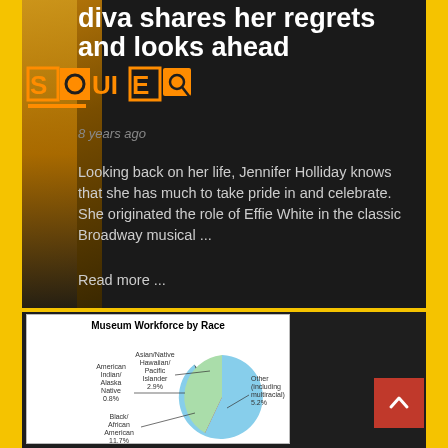diva shares her regrets and looks ahead
8 years ago
Looking back on her life, Jennifer Holliday knows that she has much to take pride in and celebrate. She originated the role of Effie White in the classic Broadway musical ...
Read more ...
[Figure (pie-chart): Museum Workforce by Race]